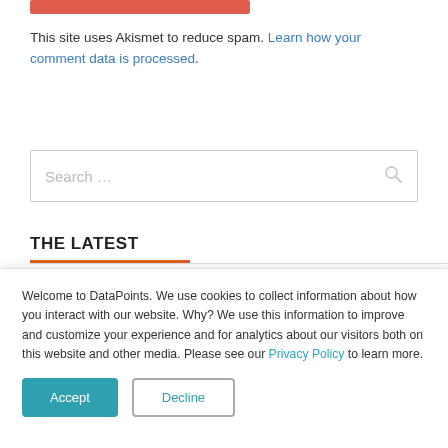[Figure (other): Red/salmon colored horizontal bar at top]
This site uses Akismet to reduce spam. Learn how your comment data is processed.
[Figure (other): Search input box with placeholder text 'Search ...' and a search icon on the right]
THE LATEST
Welcome to DataPoints. We use cookies to collect information about how you interact with our website. Why? We use this information to improve and customize your experience and for analytics about our visitors both on this website and other media. Please see our Privacy Policy to learn more.